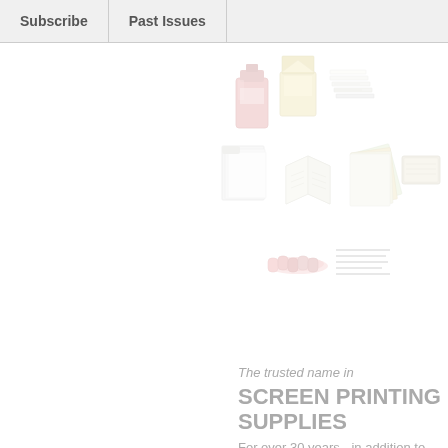Subscribe | Past Issues
[Figure (illustration): Collage of screen printing supplies and materials: ink containers, paper stacks, books/manuals, color swatches, and text/document sheets — all rendered as faded/watermark-style clip art icons]
The trusted name in SCREEN PRINTING SUPPLIES
For over 30 years - in addition to quality screen printing equipment and parts